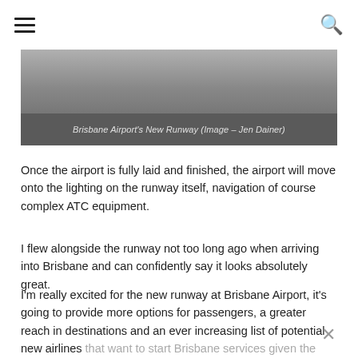≡  🔍
[Figure (photo): Partial view of Brisbane Airport's new runway surface, showing concrete/asphalt with a line marking. Below the photo is a dark grey caption bar.]
Brisbane Airport's New Runway (Image – Jen Dainer)
Once the airport is fully laid and finished, the airport will move onto the lighting on the runway itself, navigation of course complex ATC equipment.
I flew alongside the runway not too long ago when arriving into Brisbane and can confidently say it looks absolutely great.
I'm really excited for the new runway at Brisbane Airport, it's going to provide more options for passengers, a greater reach in destinations and an ever increasing list of potential new airlines that want to start Brisbane services given the added capacity in the Queensland region.